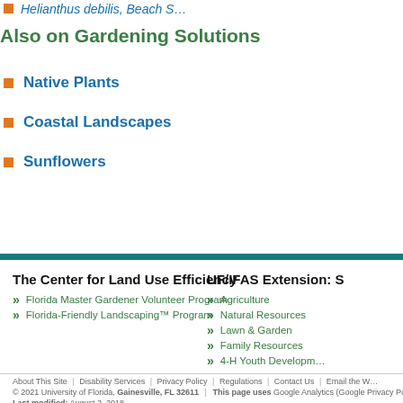Helianthus debilis, Beach Sunflower
Also on Gardening Solutions
Native Plants
Coastal Landscapes
Sunflowers
The Center for Land Use Efficiency
Florida Master Gardener Volunteer Program
Florida-Friendly Landscaping™ Program
UF/IFAS Extension: S
Agriculture
Natural Resources
Lawn & Garden
Family Resources
4-H Youth Development
About This Site | Disability Services | Privacy Policy | Regulations | Contact Us | Email the W… © 2021 University of Florida, Gainesville, FL 32611 | This page uses Google Analytics (Google Privacy Po… Last modified: August 2, 2018